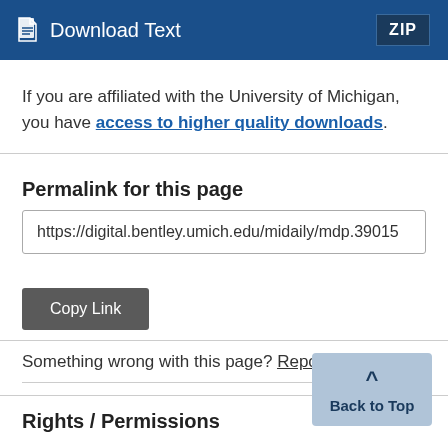[Figure (screenshot): Blue download bar with document icon, 'Download Text' label, and 'ZIP' button on the right]
If you are affiliated with the University of Michigan, you have access to higher quality downloads.
Permalink for this page
https://digital.bentley.umich.edu/midaily/mdp.39015
Copy Link
Something wrong with this page? Report problem.
Rights / Permissions